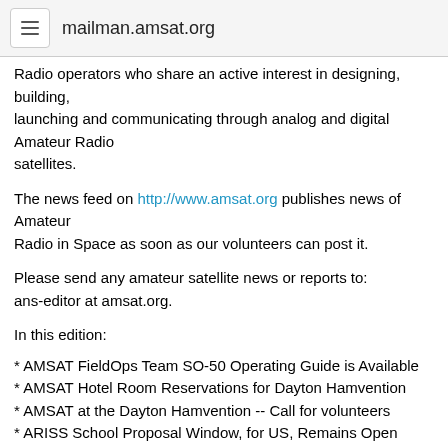mailman.amsat.org
Radio operators who share an active interest in designing, building,
launching and communicating through analog and digital Amateur Radio
satellites.
The news feed on http://www.amsat.org publishes news of Amateur
Radio in Space as soon as our volunteers can post it.
Please send any amateur satellite news or reports to:
ans-editor at amsat.org.
In this edition:
* AMSAT FieldOps Team SO-50 Operating Guide is Available
* AMSAT Hotel Room Reservations for Dayton Hamvention
* AMSAT at the Dayton Hamvention -- Call for volunteers
* ARISS School Proposal Window, for US, Remains Open Through April 15
* Tim Peake and ARISS - GB1SS Listening and Standing By